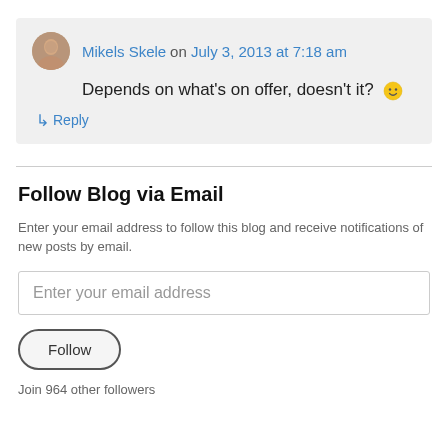Mikels Skele on July 3, 2013 at 7:18 am
Depends on what's on offer, doesn't it? 🙂
↳ Reply
Follow Blog via Email
Enter your email address to follow this blog and receive notifications of new posts by email.
Enter your email address
Follow
Join 964 other followers